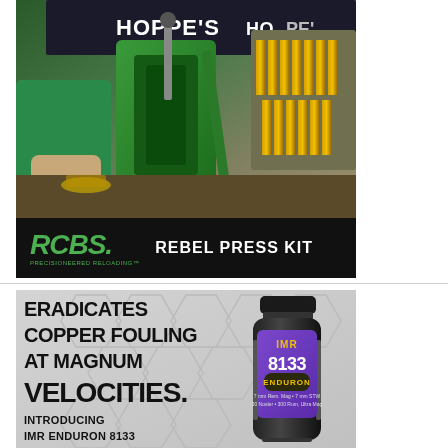[Figure (photo): RCBS Rebel Press Kit advertisement. Top portion shows a photograph of a person in a green shirt using a green RCBS reloading press on a workbench, with brass ammunition cartridges visible on the right and Hoppe's branded backdrop. Bottom portion has a black banner with the RCBS logo (green italic text, 'PRECISIONEERED RELOADING' tagline) and white bold text reading 'REBEL PRESS KIT'.]
[Figure (photo): IMR Enduron 8133 powder advertisement. Gray background with hexagonal honeycomb pattern. Bold black uppercase text on left reads 'ERADICATES COPPER FOULING AT MAGNUM VELOCITIES.' followed by 'INTRODUCING IMR ENDURON 8133'. Right side shows a black bottle with purple label reading 'IMR 8133 ENDURON' with subtitle text about 7mm Rem Mag, 7mm STW, 30 Nosler, 300 Rum, Ultra Mag.]